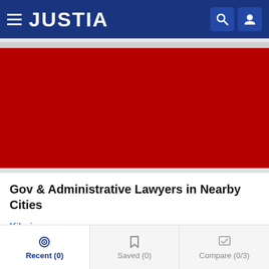JUSTIA
[Figure (other): Red advertisement banner area]
Gov & Administrative Lawyers in Nearby Cities
Kihei
Wailuku
Kahului
Recent (0)  Saved (0)  Compare (0/3)